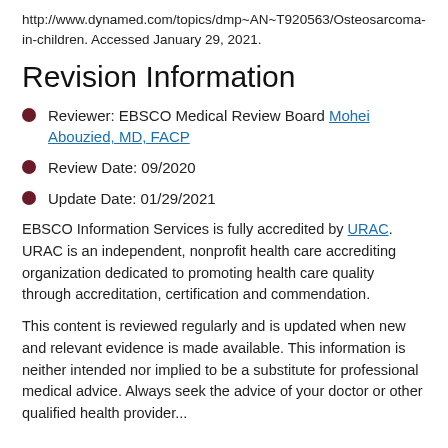http://www.dynamed.com/topics/dmp~AN~T920563/Osteosarcoma-in-children. Accessed January 29, 2021.
Revision Information
Reviewer: EBSCO Medical Review Board Mohei Abouzied, MD, FACP
Review Date: 09/2020
Update Date: 01/29/2021
EBSCO Information Services is fully accredited by URAC. URAC is an independent, nonprofit health care accrediting organization dedicated to promoting health care quality through accreditation, certification and commendation.
This content is reviewed regularly and is updated when new and relevant evidence is made available. This information is neither intended nor implied to be a substitute for professional medical advice. Always seek the advice of your doctor or other qualified health provider...